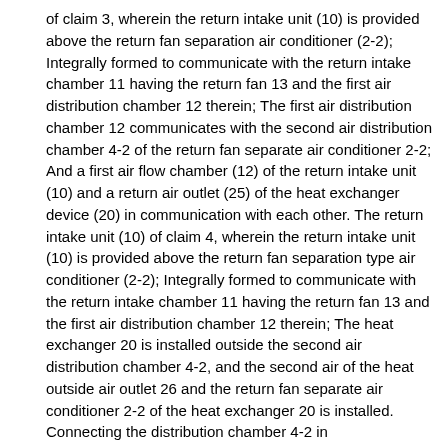of claim 3, wherein the return intake unit (10) is provided above the return fan separation air conditioner (2-2); Integrally formed to communicate with the return intake chamber 11 having the return fan 13 and the first air distribution chamber 12 therein; The first air distribution chamber 12 communicates with the second air distribution chamber 4-2 of the return fan separate air conditioner 2-2; And a first air flow chamber (12) of the return intake unit (10) and a return air outlet (25) of the heat exchanger device (20) in communication with each other. The return intake unit (10) of claim 4, wherein the return intake unit (10) is provided above the return fan separation type air conditioner (2-2); Integrally formed to communicate with the return intake chamber 11 having the return fan 13 and the first air distribution chamber 12 therein; The heat exchanger 20 is installed outside the second air distribution chamber 4-2, and the second air of the heat outside air outlet 26 and the return fan separate air conditioner 2-2 of the heat exchanger 20 is installed. Connecting the distribution chamber 4-2 in communication; And communicating with the return air inlet 24 of the heat exchanger 20 and the return air supply pipe 30 through the first air distribution chamber 12 of the return intake unit 10. Air conditioner with heat exchanger. The air conditioner of claim 1, wherein the heat exchanger (22) installed in the heat exchanger (20) is vertical or transverse.